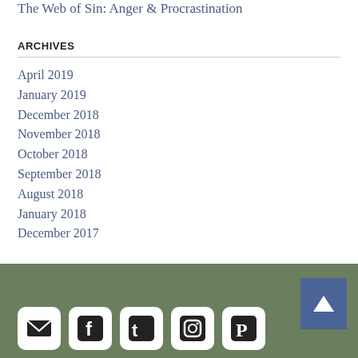The Web of Sin: Anger & Procrastination
ARCHIVES
April 2019
January 2019
December 2018
November 2018
October 2018
September 2018
August 2018
January 2018
December 2017
[Figure (infographic): Footer with social media icons (email, Facebook, Twitter, Instagram, Pinterest) on olive/green background, and a blue back-to-top arrow button in top-right corner of footer.]